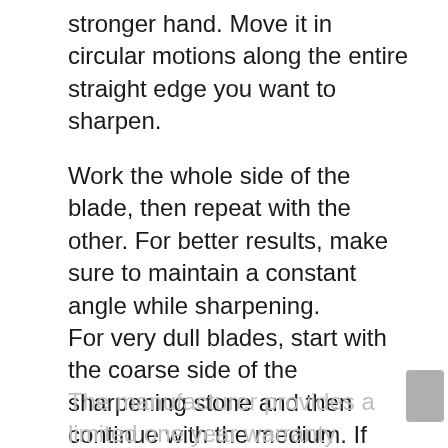stronger hand. Move it in circular motions along the entire straight edge you want to sharpen.
Work the whole side of the blade, then repeat with the other. For better results, make sure to maintain a constant angle while sharpening.
For very dull blades, start with the coarse side of the sharpening stone and then continue with the medium. If your knife needs just a touch-up, you could skip the coarse grit and use only the medium.
The manufacturer provides a limited one year warranty against defects in the materials and the workmanship of this